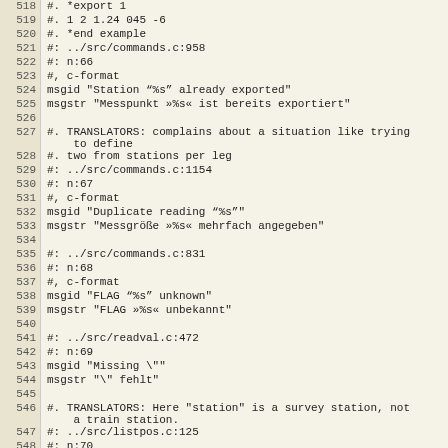| line | code |
| --- | --- |
| 518 | #. *export 1 |
| 519 | #. 1 2 1.24 045 -6 |
| 520 | #. *end example |
| 521 | #: ../src/commands.c:958 |
| 522 | #: n:66 |
| 523 | #, c-format |
| 524 | msgid "Station “%s” already exported" |
| 525 | msgstr "Messpunkt »%s« ist bereits exportiert" |
| 526 |  |
| 527 | #. TRANSLATORS: complains about a situation like trying to define |
| 528 | #. two from stations per leg |
| 529 | #: ../src/commands.c:1154 |
| 530 | #: n:67 |
| 531 | #, c-format |
| 532 | msgid "Duplicate reading “%s”" |
| 533 | msgstr "Messgröße »%s« mehrfach angegeben" |
| 534 |  |
| 535 | #: ../src/commands.c:831 |
| 536 | #: n:68 |
| 537 | #, c-format |
| 538 | msgid "FLAG “%s” unknown" |
| 539 | msgstr "FLAG »%s« unbekannt" |
| 540 |  |
| 541 | #: ../src/readval.c:472 |
| 542 | #: n:69 |
| 543 | msgid "Missing \"" |
| 544 | msgstr "\" fehlt" |
| 545 |  |
| 546 | #. TRANSLATORS: Here "station" is a survey station, not a train station. |
| 547 | #: ../src/listpos.c:125 |
| 548 | #: n:70 |